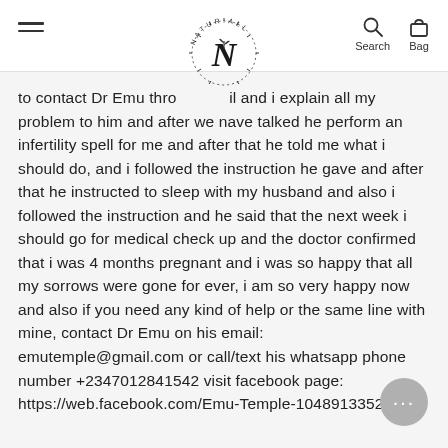NATUR.ALL — Search, Bag
to contact Dr Emu through and i explain all my problem to him and after we nave talked he perform an infertility spell for me and after that he told me what i should do, and i followed the instruction he gave and after that he instructed to sleep with my husband and also i followed the instruction and he said that the next week i should go for medical check up and the doctor confirmed that i was 4 months pregnant and i was so happy that all my sorrows were gone for ever, i am so very happy now and also if you need any kind of help or the same line with mine, contact Dr Emu on his email: emutemple@gmail.com or call/text his whatsapp phone number +2347012841542 visit facebook page: https://web.facebook.com/Emu-Temple-104891335203341